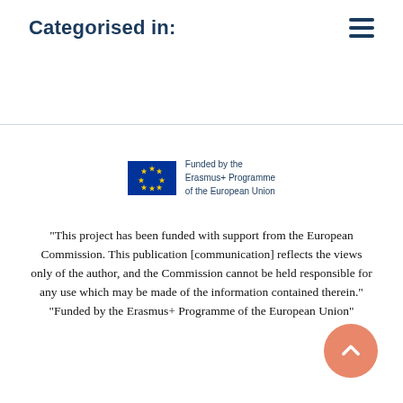Categorised in:
[Figure (logo): Erasmus+ Programme of the European Union logo with EU flag stars and text 'Funded by the Erasmus+ Programme of the European Union']
“This project has been funded with support from the European Commission. This publication [communication] reflects the views only of the author, and the Commission cannot be held responsible for any use which may be made of the information contained therein.” “Funded by the Erasmus+ Programme of the European Union”